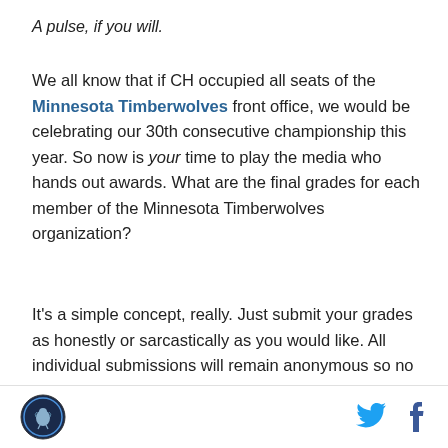A pulse, if you will.
We all know that if CH occupied all seats of the Minnesota Timberwolves front office, we would be celebrating our 30th consecutive championship this year. So now is your time to play the media who hands out awards. What are the final grades for each member of the Minnesota Timberwolves organization?
It’s a simple concept, really. Just submit your grades as honestly or sarcastically as you would like. All individual submissions will remain anonymous so no one will know if you were the one voter who didn’t think Jaden McDaniels was the MVP. Once the survey closes, the results as a whole will be published on
[Figure (logo): Canis Hoopus circular logo with bird silhouette]
[Figure (logo): Twitter bird icon in blue]
[Figure (logo): Facebook f icon in dark blue]